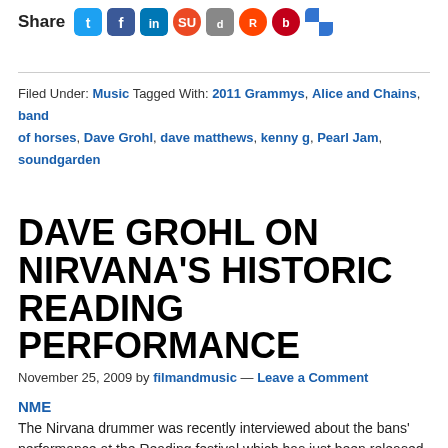[Figure (other): Social share bar with icons for Twitter, Facebook, LinkedIn, StumbleUpon, Digg, Reddit, Bebo, and Delicious]
Filed Under: Music Tagged With: 2011 Grammys, Alice and Chains, band of horses, Dave Grohl, dave matthews, kenny g, Pearl Jam, soundgarden
DAVE GROHL ON NIRVANA'S HISTORIC READING PERFORMANCE
November 25, 2009 by filmandmusic — Leave a Comment
NME
The Nirvana drummer was recently interviewed about the bans' performance at the Reading festival which has just been released on DVD. "We rehearsed [for Reading]